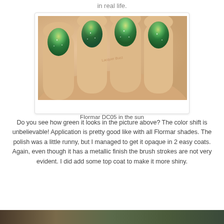in real life.
[Figure (photo): Close-up photo of hand with nails painted in Flormar DC05 green metallic duochrome nail polish, photographed in the sun showing intense green color shift]
Flormar DC05 in the sun
Do you see how green it looks in the picture above? The color shift is unbelievable! Application is pretty good like with all Flormar shades. The polish was a little runny, but I managed to get it opaque in 2 easy coats. Again, even though it has a metallic finish the brush strokes are not very evident. I did add some top coat to make it more shiny.
[Figure (photo): Partial photo at bottom of page, cropped]